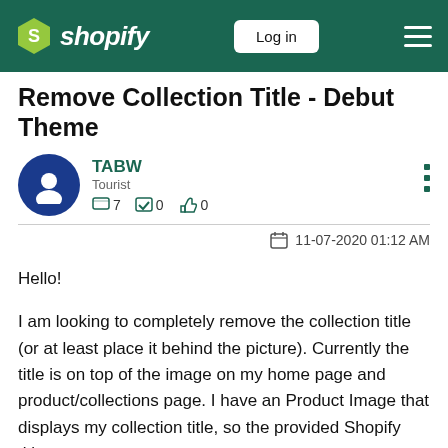Shopify — Log in
Remove Collection Title - Debut Theme
TABW
Tourist
7 comments  0 solutions  0 likes
11-07-2020 01:12 AM
Hello!

I am looking to completely remove the collection title (or at least place it behind the picture). Currently the title is on top of the image on my home page and product/collections page. I have an Product Image that displays my collection title, so the provided Shopify title